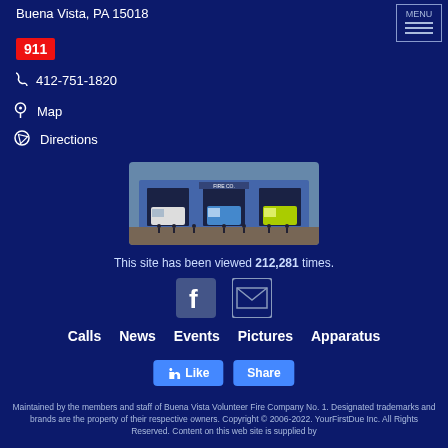Buena Vista, PA 15018
911
412-751-1820
Map
Directions
[Figure (photo): Fire station bay with three emergency vehicles (white, blue, yellow/green) parked in front, with firefighters standing in front of the building.]
This site has been viewed 212,281 times.
[Figure (logo): Facebook icon (F logo) and email envelope icon]
Calls   News   Events   Pictures   Apparatus
Like  Share
Maintained by the members and staff of Buena Vista Volunteer Fire Company No. 1. Designated trademarks and brands are the property of their respective owners. Copyright © 2006-2022. YourFirstDue Inc. All Rights Reserved. Content on this web site is supplied by